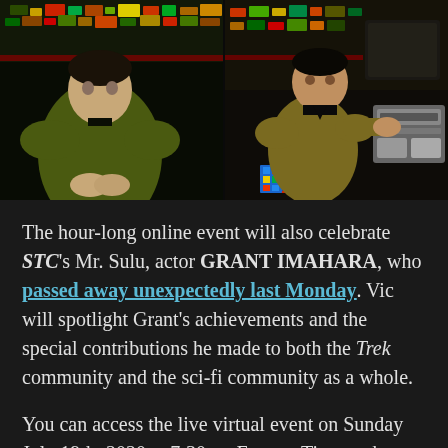[Figure (photo): Two side-by-side photos from Star Trek Continues: left shows an actor in a green command uniform on the bridge, right shows Grant Imahara as Mr. Sulu at a console with a Rubik's cube.]
The hour-long online event will also celebrate STC's Mr. Sulu, actor GRANT IMAHARA, who passed away unexpectedly last Monday. Vic will spotlight Grant's achievements and the special contributions he made to both the Trek community and the sci-fi community as a whole.
You can access the live virtual event on Sunday July 19th, 2020 at 7:30pm Eastern Time at the